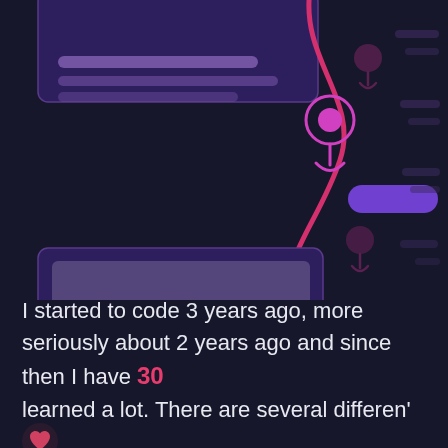[Figure (illustration): Dark themed illustration showing a mobile UI mockup on the left with purple card components and text lines, and a decorative map/route path on the right with pink/magenta curved line, location pin markers, and pill-shaped highlight elements on a dark navy background.]
I started to code 3 years ago, more seriously about 2 years ago and since then I have 30 learned a lot. There are several different reasons why I started, but the main one was